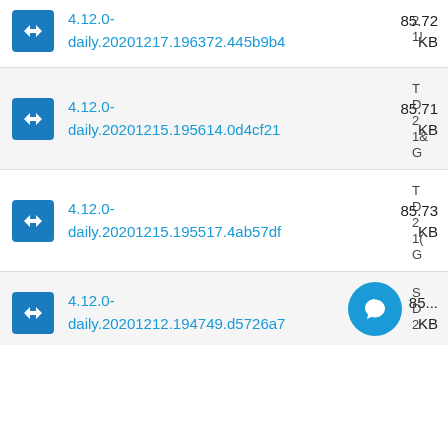4.12.0-daily.20201217.196372.445b9b4 85.72 KB
4.12.0-daily.20201215.195614.0d4cf21 85.71 KB
4.12.0-daily.20201215.195517.4ab57df 85.73 KB
4.12.0-daily.20201212.194749.d5726a7 85... KB